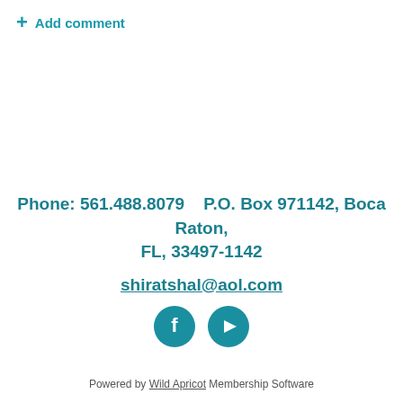+ Add comment
Phone: 561.488.8079    P.O. Box 971142, Boca Raton, FL, 33497-1142
shiratshal@aol.com
[Figure (illustration): Two teal circular social media icons: Facebook (f logo) and YouTube (play button logo)]
Powered by Wild Apricot Membership Software